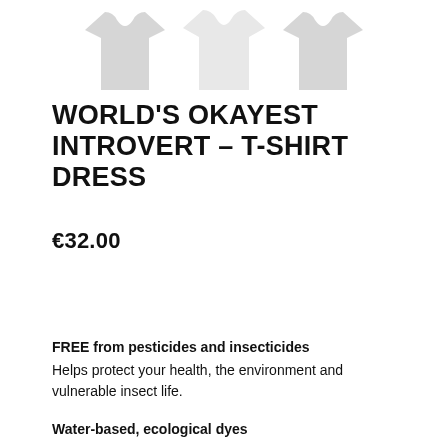[Figure (illustration): Three light gray t-shirt/dress silhouette icons arranged in a row at the top of the page]
WORLD'S OKAYEST INTROVERT – T-SHIRT DRESS
€32.00
FREE from pesticides and insecticides
Helps protect your health, the environment and vulnerable insect life.
Water-based, ecological dyes